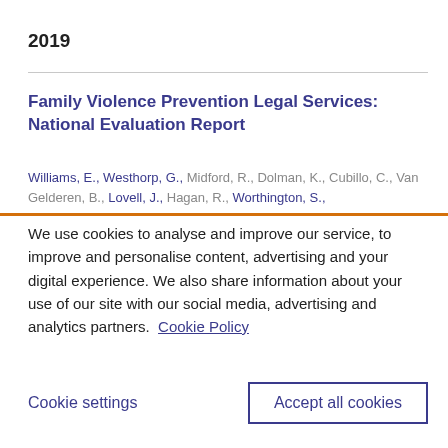2019
Family Violence Prevention Legal Services: National Evaluation Report
Williams, E., Westhorp, G., Midford, R., Dolman, K., Cubillo, C., Van Gelderen, B., Lovell, J., Hagan, R., Worthington, S.,
We use cookies to analyse and improve our service, to improve and personalise content, advertising and your digital experience. We also share information about your use of our site with our social media, advertising and analytics partners.  Cookie Policy
Cookie settings
Accept all cookies